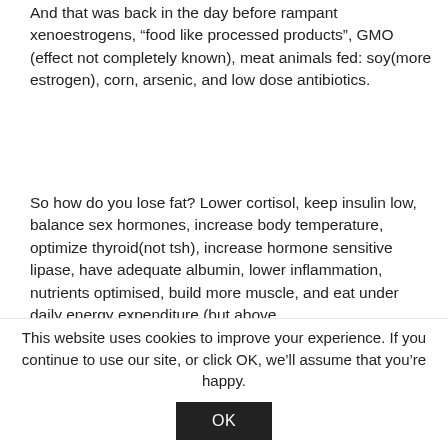And that was back in the day before rampant xenoestrogens, “food like processed products”, GMO (effect not completely known), meat animals fed: soy(more estrogen), corn, arsenic, and low dose antibiotics.
So how do you lose fat? Lower cortisol, keep insulin low, balance sex hormones, increase body temperature, optimize thyroid(not tsh), increase hormone sensitive lipase, have adequate albumin, lower inflammation, nutrients optimised, build more muscle, and eat under daily energy expenditure (but above
This website uses cookies to improve your experience. If you continue to use our site, or click OK, we’ll assume that you’re happy.